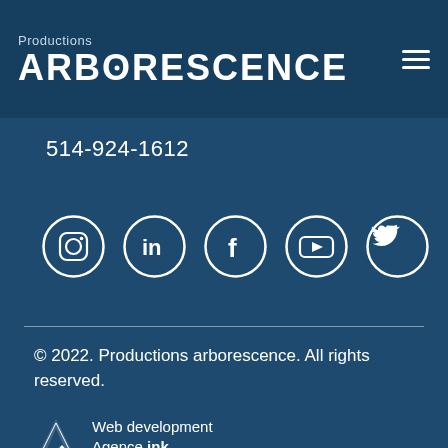Productions ARBORESCENCE
514-924-1612
[Figure (illustration): Five social media icons in white circles: Instagram, LinkedIn, Facebook, YouTube, Twitter]
© 2022. Productions arborescence. All rights reserved.
Web development Agence ink